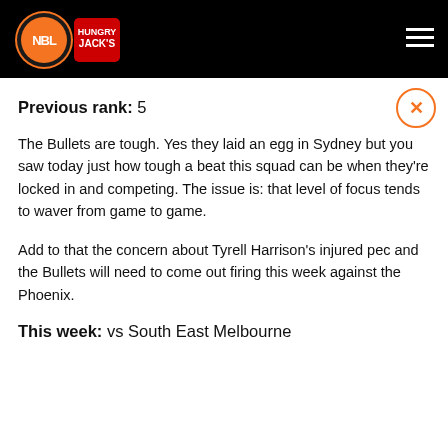[Figure (logo): NBL Hungry Jack's logo on black header bar]
Previous rank: 5
The Bullets are tough. Yes they laid an egg in Sydney but you saw today just how tough a beat this squad can be when they're locked in and competing. The issue is: that level of focus tends to waver from game to game.
Add to that the concern about Tyrell Harrison's injured pec and the Bullets will need to come out firing this week against the Phoenix.
This week: vs South East Melbourne